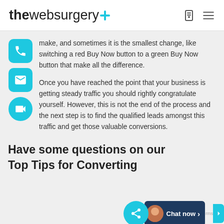thewebsurgery+
make, and sometimes it is the smallest change, like switching a red Buy Now button to a green Buy Now button that make all the difference.
Once you have reached the point that your business is getting steady traffic you should rightly congratulate yourself. However, this is not the end of the process and the next step is to find the qualified leads amongst this traffic and get those valuable conversions.
Have some questions on our Top Tips for Converting